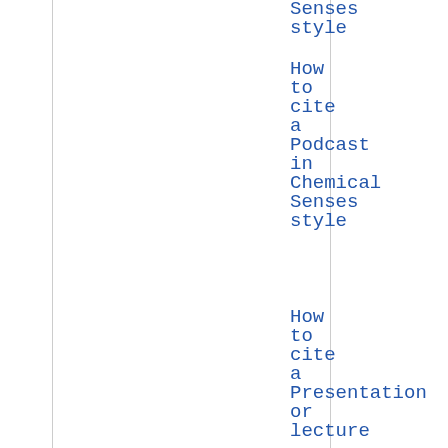Senses style
How to cite a Podcast in Chemical Senses style
How to cite a Presentation or lecture